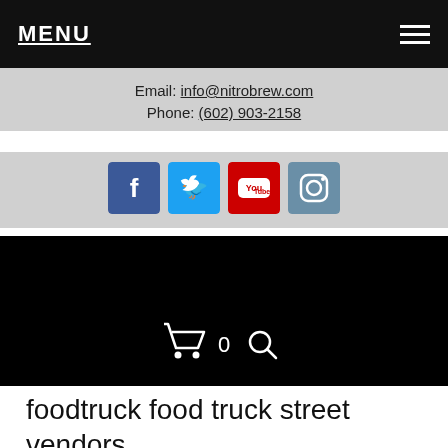MENU
Email: info@nitrobrew.com
Phone: (602) 903-2158
[Figure (infographic): Social media icons: Facebook, Twitter, YouTube, Instagram]
[Figure (infographic): Black hero banner with shopping cart icon and number 0 and search icon]
foodtruck food truck street vendors
We at Nitro Brew have found some